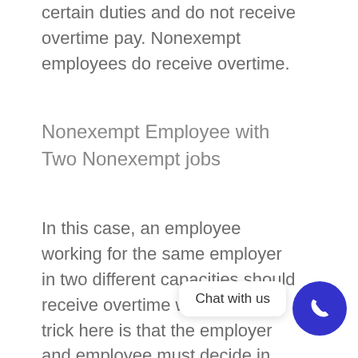certain duties and do not receive overtime pay. Nonexempt employees do receive overtime.
Nonexempt Employee with Two Nonexempt jobs
In this case, an employee working for the same employer in two different capacities should receive overtime wages. The trick here is that the employer and employee must decide in advance what pay rate the employee will be receiving for overtime. Without such an agreement, the